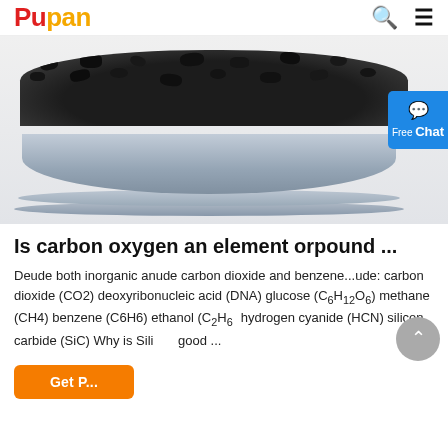Pupan
[Figure (photo): Photo of dark carbon/graphite granules or particles in a round container/dish, viewed from the side on a white background. A blue chat button is partially visible on the right edge.]
Is carbon oxygen an element orpound ...
Deude both inorganic anude carbon dioxide and benzene...ude: carbon dioxide (CO2) deoxyribonucleic acid (DNA) glucose (C₆H₁₂O₆) methane (CH4) benzene (C6H6) ethanol (C₂H₆) hydrogen cyanide (HCN) silicon carbide (SiC) Why is Sili good ...
Get P...